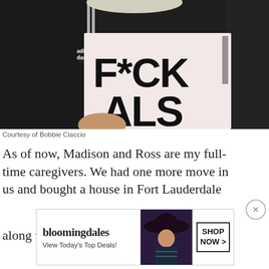[Figure (photo): Person wearing a black Adidas jacket over a pink/white t-shirt that reads 'F*CK ALS' in large black lettering, holding what appears to be a cane or walking stick. Person has light/white hair visible at top.]
Courtesy of Bobbie Ciaccio
As of now, Madison and Ross are my full-time caregivers. We had one more move in us and bought a house in Fort Lauderdale along with purchasing a wheelchair
[Figure (other): Bloomingdale's advertisement banner: 'bloomingdales - View Today's Top Deals!' with a woman in a hat and a 'SHOP NOW >' button]